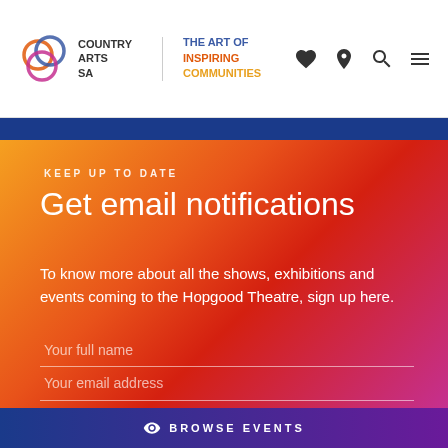COUNTRY ARTS SA | THE ART OF INSPIRING COMMUNITIES
KEEP UP TO DATE
Get email notifications
To know more about all the shows, exhibitions and events coming to the Hopgood Theatre, sign up here.
Your full name
Your email address
BROWSE EVENTS